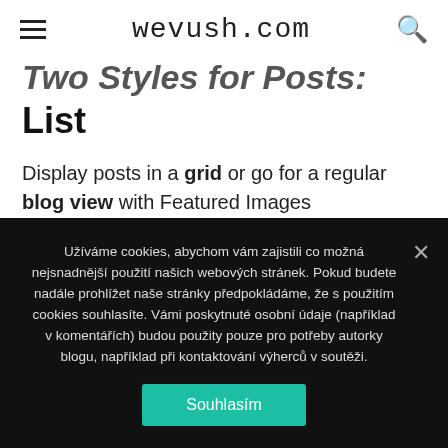wevush.com
Two Styles for Posts: Grid and List
Display posts in a grid or go for a regular blog view with Featured Images accompanying posts. Foodica lets you choose your default post view.
Užíváme cookies, abychom vám zajistili co možná nejsnadnější použití našich webových stránek. Pokud budete nadále prohlížet naše stránky předpokládáme, že s použitím cookies souhlasíte. Vámi poskytnuté osobní údaje (například v komentářích) budou použity pouze pro potřeby autorky blogu, například při kontaktování výherců v soutěži.
Souhlasím